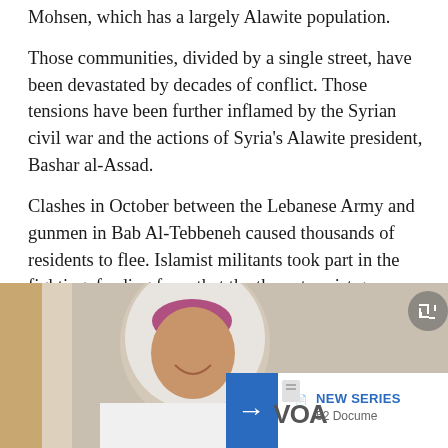Mohsen, which has a largely Alawite population.
Those communities, divided by a single street, have been devastated by decades of conflict. Those tensions have been further inflamed by the Syrian civil war and the actions of Syria's Alawite president, Bashar al-Assad.
Clashes in October between the Lebanese Army and gunmen in Bab Al-Tebbeneh caused thousands of residents to flee. Islamist militants took part in the fighting, feeding fears that the the extremist group Islamic State was seeking a foothold in Lebanon.
[Figure (photo): Photo of a smiling woman wearing a white hijab with a pink inner headband, partially visible, with a VOA overlay banner in the bottom right showing 'NEW SERIES' and '52 Docume...' text, and a blue arrow button.]